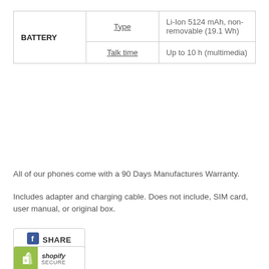|  | Spec | Value |
| --- | --- | --- |
| BATTERY | Type | Li-Ion 5124 mAh, non-removable (19.1 Wh) |
|  | Talk time | Up to 10 h (multimedia) |
All of our phones come with a 90 Days Manufactures Warranty.
Includes adapter and charging cable. Does not include, SIM card, user manual, or original box.
[Figure (other): Facebook Share button with f logo and SHARE text]
[Figure (logo): Shopify Secure badge with green Shopify logo and italic shopify SECURE text]